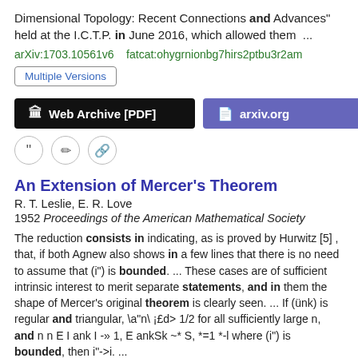Dimensional Topology: Recent Connections and Advances" held at the I.C.T.P. in June 2016, which allowed them  ...
arXiv:1703.10561v6   fatcat:ohygrnionbg7hirs2ptbu3r2am
Multiple Versions
Web Archive [PDF]   arxiv.org
An Extension of Mercer's Theorem
R. T. Leslie, E. R. Love
1952 Proceedings of the American Mathematical Society
The reduction consists in indicating, as is proved by Hurwitz [5] , that, if both Agnew also shows in a few lines that there is no need to assume that (i") is bounded.  ...  These cases are of sufficient intrinsic interest to merit separate statements, and in them the shape of Mercer's original theorem is clearly seen.  ...  If (ünk) is regular and triangular, \a"n\ ¡£d> 1/2 for all sufficiently large n, and n n E I ank I -» 1, E ankSk ~* S, *=1 *-l where (i") is bounded, then i"->i.  ...
doi:10.2307/2031902   fatcat:zrdhh2olbra5bm4rwbrhpgbdce